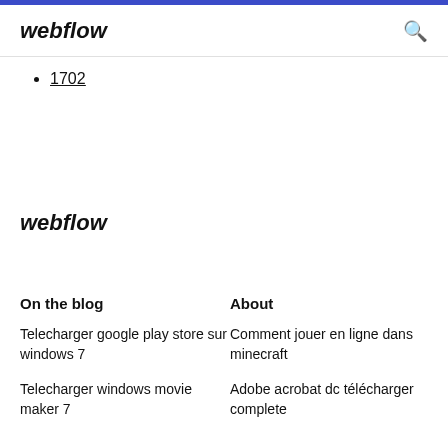webflow
1702
webflow
On the blog
About
Telecharger google play store sur windows 7
Comment jouer en ligne dans minecraft
Telecharger windows movie maker 7
Adobe acrobat dc télécharger complete